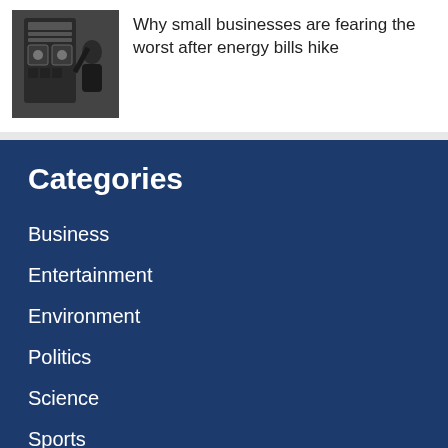[Figure (photo): A person working on or operating an electrical panel or control box, photographed indoors.]
Why small businesses are fearing the worst after energy bills hike
Categories
Business
Entertainment
Environment
Politics
Science
Sports
Technology